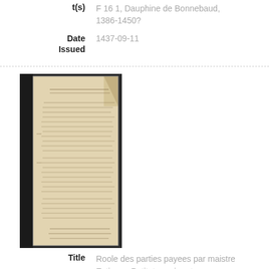t(s)    F 16 1, Dauphine de Bonnebaud, 1386-1450?
Date Issued    1437-09-11
[Figure (photo): Photograph of a handwritten medieval manuscript document on aged parchment, with dense lines of text in an old script.]
Title    Roole des parties payees par maistre Estienne Petit, tresorier et receveur